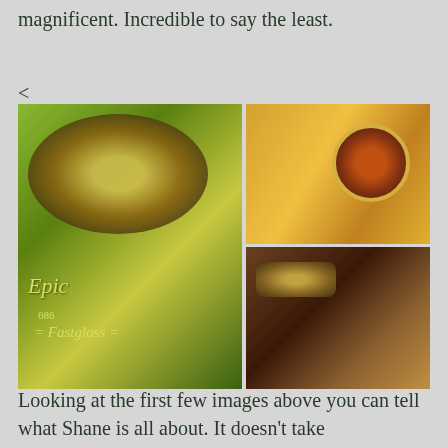magnificent. Incredible to say the least.
<
[Figure (photo): A composite of three close-up photos of fly fishing rods. Left: a bright green Epic 686 Fastglass rod with Grays Products logo and guide rings. Top right: golden/yellow bamboo fly rods with a tortoiseshell guide ring, Grays branding visible. Bottom right: dark maroon fly rod sections laid on canvas with a Grays brand cork grip and red decorative reel seat.]
Looking at the first few images above you can tell what Shane is all about. It doesn't take